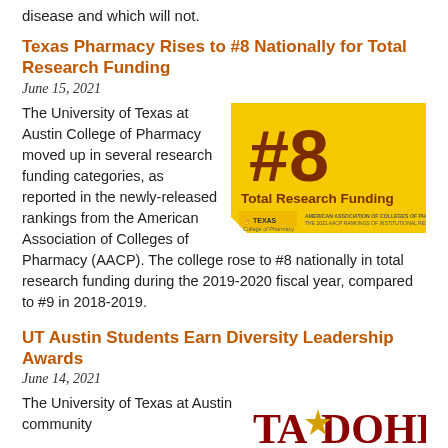disease and which will not.
Texas Pharmacy Rises to #8 Nationally for Total Research Funding
June 15, 2021
[Figure (infographic): Yellow badge graphic showing '#8 Total Research Funding' with UT Texas and AACP logos]
The University of Texas at Austin College of Pharmacy moved up in several research funding categories, as reported in the newly-released rankings from the American Association of Colleges of Pharmacy (AACP). The college rose to #8 nationally in total research funding during the 2019-2020 fiscal year, compared to #9 in 2018-2019.
UT Austin Students Earn Diversity Leadership Awards
June 14, 2021
[Figure (logo): TADOHE logo - Texas Association of Diversity Officers in Higher Education]
The University of Texas at Austin community